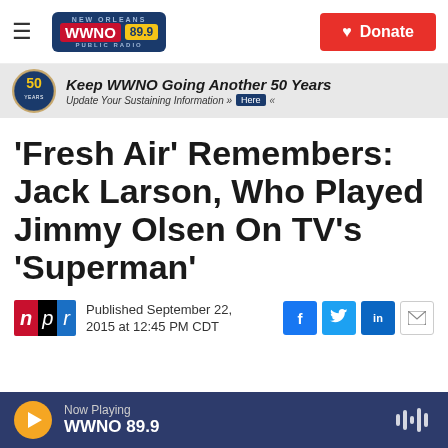NEW ORLEANS WWNO 89.9 PUBLIC RADIO | Donate
[Figure (logo): WWNO 89.9 New Orleans Public Radio logo with red WWNO badge, yellow 89.9 badge on navy background]
[Figure (banner): 50th anniversary banner: Keep WWNO Going Another 50 Years. Update Your Sustaining Information >> Here <<]
'Fresh Air' Remembers: Jack Larson, Who Played Jimmy Olsen On TV's 'Superman'
[Figure (logo): NPR logo: red n, black p, blue r]
Published September 22, 2015 at 12:45 PM CDT
Now Playing WWNO 89.9